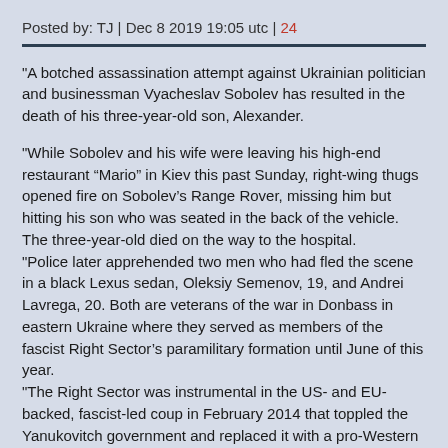Posted by: TJ | Dec 8 2019 19:05 utc | 24
"A botched assassination attempt against Ukrainian politician and businessman Vyacheslav Sobolev has resulted in the death of his three-year-old son, Alexander.

"While Sobolev and his wife were leaving his high-end restaurant “Mario” in Kiev this past Sunday, right-wing thugs opened fire on Sobolev’s Range Rover, missing him but hitting his son who was seated in the back of the vehicle. The three-year-old died on the way to the hospital.
"Police later apprehended two men who had fled the scene in a black Lexus sedan, Oleksiy Semenov, 19, and Andrei Lavrega, 20. Both are veterans of the war in Donbass in eastern Ukraine where they served as members of the fascist Right Sector’s paramilitary formation until June of this year.
"The Right Sector was instrumental in the US- and EU-backed, fascist-led coup in February 2014 that toppled the Yanukovitch government and replaced it with a pro-Western and anti-Russian regime. Since then, the Right Sector has been among the far-right forces that have been heavily involved in the war against Russian-backed separatists in East Ukraine.

"As is usual when members of neo-Nazi groups carry out political attacks, the Right Sector and their informers let di...